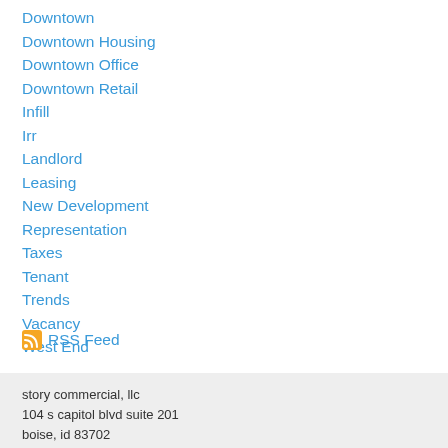Downtown
Downtown Housing
Downtown Office
Downtown Retail
Infill
Irr
Landlord
Leasing
New Development
Representation
Taxes
Tenant
Trends
Vacancy
West End
RSS Feed
story commercial, llc
104 s capitol blvd suite 201
boise, id 83702